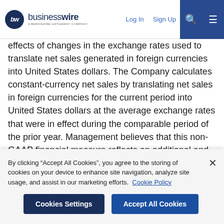businesswire — A Berkshire Hathaway Company | Log In | Sign Up
effects of changes in the exchange rates used to translate net sales generated in foreign currencies into United States dollars. The Company calculates constant-currency net sales by translating net sales in foreign currencies for the current period into United States dollars at the average exchange rates that were in effect during the comparable period of the prior year. Management believes that this non-GAAP financial measure reflects an additional and useful way of viewing an aspect of our operations that, when viewed in conjunction with our GAAP results, provides a more comprehensive understanding of our business and operations. In particular, investors may find the non-GAAP financial measure useful by
By clicking “Accept All Cookies”, you agree to the storing of cookies on your device to enhance site navigation, analyze site usage, and assist in our marketing efforts. Cookie Policy
Cookies Settings | Accept All Cookies